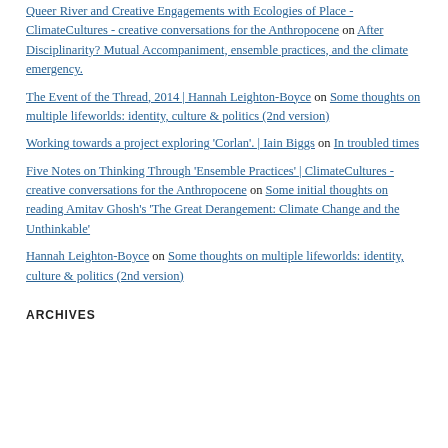Queer River and Creative Engagements with Ecologies of Place - ClimateCultures - creative conversations for the Anthropocene on After Disciplinarity? Mutual Accompaniment, ensemble practices, and the climate emergency.
The Event of the Thread, 2014 | Hannah Leighton-Boyce on Some thoughts on multiple lifeworlds: identity, culture & politics (2nd version)
Working towards a project exploring 'Corlan'. | Iain Biggs on In troubled times
Five Notes on Thinking Through 'Ensemble Practices' | ClimateCultures - creative conversations for the Anthropocene on Some initial thoughts on reading Amitav Ghosh's 'The Great Derangement: Climate Change and the Unthinkable'
Hannah Leighton-Boyce on Some thoughts on multiple lifeworlds: identity, culture & politics (2nd version)
ARCHIVES